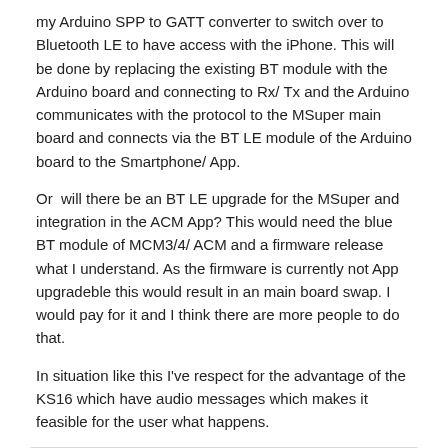my Arduino SPP to GATT converter to switch over to Bluetooth LE to have access with the iPhone. This will be done by replacing the existing BT module with the Arduino board and connecting to Rx/ Tx and the Arduino communicates with the protocol to the MSuper main board and connects via the BT LE module of the Arduino board to the Smartphone/ App.
Or  will there be an BT LE upgrade for the MSuper and integration in the ACM App? This would need the blue BT module of MCM3/4/ ACM and a firmware release what I understand. As the firmware is currently not App upgradeble this would result in an main board swap. I would pay for it and I think there are more people to do that.
In situation like this I've respect for the advantage of the KS16 which have audio messages which makes it feasible for the user what happens.
On 5/21/2016 at 7:09 AM, SlowMo said:
He already mentioned that his weight is the problem.